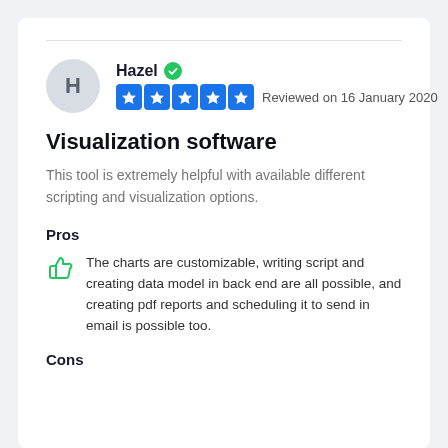Hazel · Reviewed on 16 January 2020
Visualization software
This tool is extremely helpful with available different scripting and visualization options.
Pros
The charts are customizable, writing script and creating data model in back end are all possible, and creating pdf reports and scheduling it to send in email is possible too.
Cons